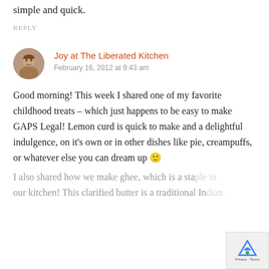yummy recipe for pastured pork chops that is really simple and quick.
REPLY
Joy at The Liberated Kitchen
February 16, 2012 at 9:43 am
Good morning! This week I shared one of my favorite childhood treats – which just happens to be easy to make GAPS Legal! Lemon curd is quick to make and a delightful indulgence, on it's own or in other dishes like pie, creampuffs, or whatever else you can dream up 🙂
I also shared how we make ghee, which is a staple in our kitchen! This clarified butter is a traditional Indian